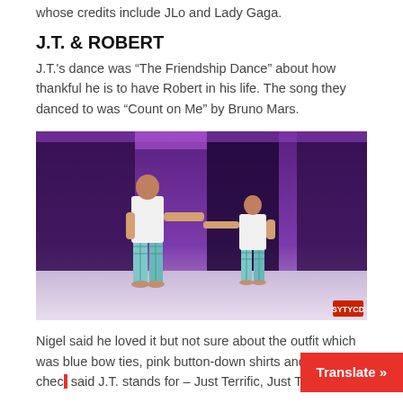whose credits include JLo and Lady Gaga.
J.T. & ROBERT
J.T.'s dance was “The Friendship Dance” about how thankful he is to have Robert in his life. The song they danced to was “Count on Me” by Bruno Mars.
[Figure (photo): Two dancers on a stage with purple lighting — a taller adult male and a smaller child, both wearing white button-down shirts and blue plaid pants, reaching toward each other mid-dance.]
Nigel said he loved it but not sure about the outfit which was blue bow ties, pink button-down shirts and blue chec... Nigel said J.T. stands for – Just Terrific, Just Ten...an